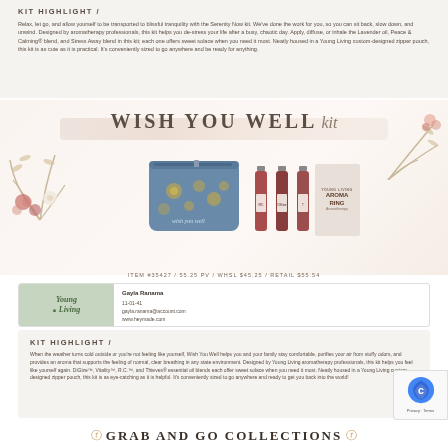KIT HIGHLIGHT /
Relax, let go, and allow yourself to be transported to blissful tranquility with the Serenity Now kit. We've done the work for you, so you can sit back, slow down, and unwind. Designed by aromatherapy professionals, this kit helps you de-stress your life after a busy, chaotic day. Apply, diffuse, or inhale the Lavender oil, Peace & Calming® blend, and Stress Away blend in this kit; each one offers sweet solace when you need it most. Neatly housed in a Young Living custom-designed zipper pouch, this kit is as cute as it is practical. It's conveniently sized to go anywhere and be ready for anything.
[Figure (photo): Wish You Well Kit product image showing a blue floral zipper pouch with essential oil bottles and an Aroma Ring box, surrounded by floral decorations]
ITEM #35427 / 55.25 PV / WHSL $45.25 / RETAIL $55.54
Gayla Ranama
11-01-41
gayla.ranama@account.com
www.heymade.com
KIT HIGHLIGHT /
When the weather turns cold outside or you're not feeling like yourself, Wish You Well helps you and your family stay comfortable, purifies your air from stuffy odors, and provides an aroma that supports the feeling of normal, clear breathing in any state environment. Designed by Young Living aromatherapy professionals, this kit helps you feel like yourself again. DiGize™, Vitality™, R.C.™, and Thieves® essential oil blends each offer sweet solace when you need it most. Neatly housed in a Young Living custom-designed zipper pouch, this kit is as eye-catching as it is helpful. It's conveniently sized to go anywhere and ready to get you back into the world!
GRAB AND GO COLLECTIONS